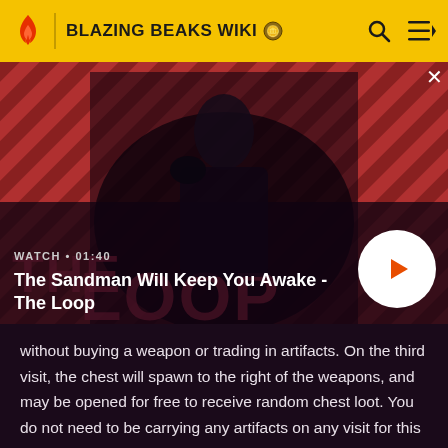BLAZING BEAKS WIKI
[Figure (screenshot): Video thumbnail showing a man in dark clothing with a raven on his shoulder, against a red diagonal-striped background. Text 'THE LOOP' visible at bottom. Duration label WATCH • 01:40. Title: The Sandman Will Keep You Awake - The Loop. White circular play button on the right.]
without buying a weapon or trading in artifacts. On the third visit, the chest will spawn to the right of the weapons, and may be opened for free to receive random chest loot. You do not need to be carrying any artifacts on any visit for this to occur.